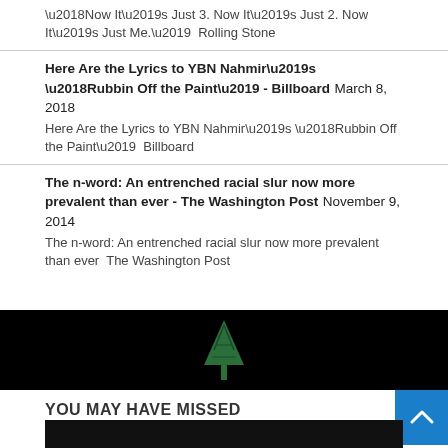'Now It's Just 3. Now It's Just 2. Now It's Just Me.'  Rolling Stone
Here Are the Lyrics to YBN Nahmir's 'Rubbin Off the Paint' - Billboard March 8, 2018
Here Are the Lyrics to YBN Nahmir's 'Rubbin Off the Paint'  Billboard
The n-word: An entrenched racial slur now more prevalent than ever - The Washington Post November 9, 2014
The n-word: An entrenched racial slur now more prevalent than ever  The Washington Post
[Figure (illustration): Green stylized tree/plant logo on black background]
YOU MAY HAVE MISSED
[Figure (photo): Dark/black image partially visible at bottom]